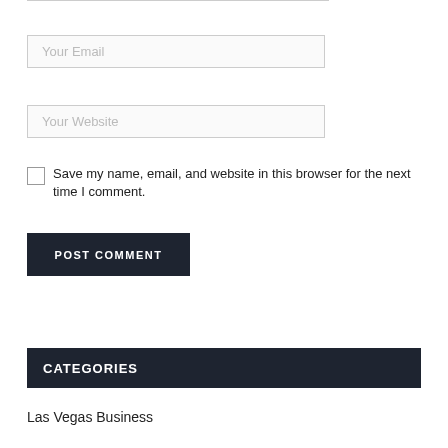Your Email
Your Website
Save my name, email, and website in this browser for the next time I comment.
POST COMMENT
CATEGORIES
Las Vegas Business